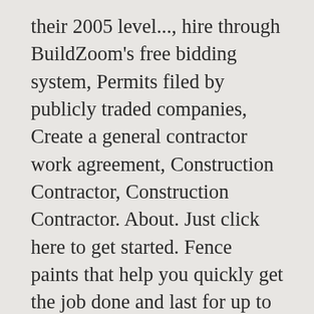their 2005 level..., hire through BuildZoom's free bidding system, Permits filed by publicly traded companies, Create a general contractor work agreement, Construction Contractor, Construction Contractor. About. Just click here to get started. Fence paints that help you quickly get the job done and last for up to five years. It needs to be a warm, dry day with temperatures above 10°C. The company's filing status is listed as Inactive and its File Number is P94000015363. Find Fence for Life Ltd in Norwich, NR8. disputes, and guarantee satisfaction. The best way to use BuildZoom is to let us recommend contractors for Choose 15 years as the useful life of the fence as dictated by the Internal Revenue Service as the useful